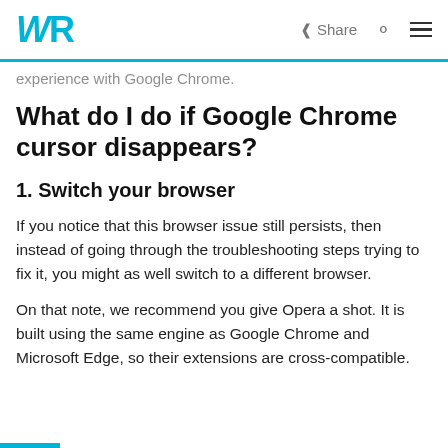WR  Share  🔍  ≡
experience with Google Chrome.
What do I do if Google Chrome cursor disappears?
1. Switch your browser
If you notice that this browser issue still persists, then instead of going through the troubleshooting steps trying to fix it, you might as well switch to a different browser.
On that note, we recommend you give Opera a shot. It is built using the same engine as Google Chrome and Microsoft Edge, so their extensions are cross-compatible.